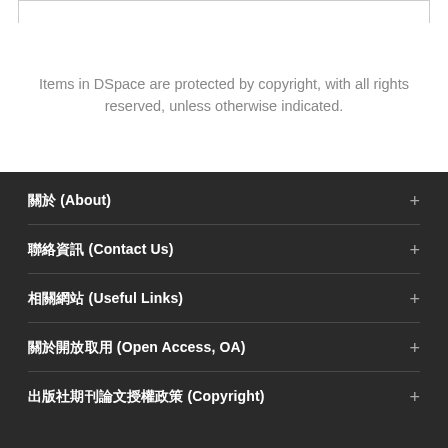Items in DSpace are protected by copyright, with all rights reserved, unless otherwise indicated.
關於 (About)
聯絡資訊 (Contact Us)
相關網站 (Useful Links)
關於開放取用 (Open Access, OA)
出版社期刊論文授權政策 (Copyright)